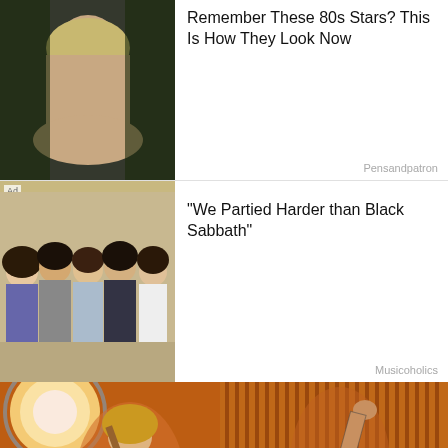[Figure (screenshot): Ad widget row 1: photo of a blonde woman from the 80s, with text headline 'Remember These 80s Stars? This Is How They Look Now' sourced from Pensandpatron]
[Figure (screenshot): Ad widget row 2: photo of people at a Waffle House, with text headline 'Waffle House Waitress Goes Viral After Helping an Elder' sourced from Freshedits]
[Figure (screenshot): Ad widget row 3: photo of a classic rock band (5 members), with text headline '"We Partied Harder than Black Sabbath"' sourced from Musicoholics]
[Figure (photo): Concert photo: two rock performers on stage with bright stage lighting, orange warm tones, one playing guitar on left, one with arm raised on right]